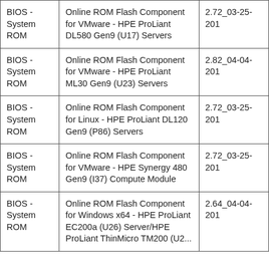| BIOS - System ROM | Online ROM Flash Component for VMware - HPE ProLiant DL580 Gen9 (U17) Servers | 2.72_03-25-201 |
| BIOS - System ROM | Online ROM Flash Component for VMware - HPE ProLiant ML30 Gen9 (U23) Servers | 2.82_04-04-201 |
| BIOS - System ROM | Online ROM Flash Component for Linux - HPE ProLiant DL120 Gen9 (P86) Servers | 2.72_03-25-201 |
| BIOS - System ROM | Online ROM Flash Component for VMware - HPE Synergy 480 Gen9 (I37) Compute Module | 2.72_03-25-201 |
| BIOS - System ROM | Online ROM Flash Component for Windows x64 - HPE ProLiant EC200a (U26) Server/HPE ProLiant ThinMicro TM200 (U2...) | 2.64_04-04-201 |